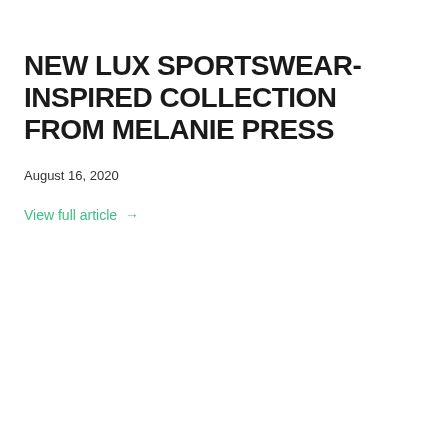NEW LUX SPORTSWEAR-INSPIRED COLLECTION FROM MELANIE PRESS
August 16, 2020
View full article →